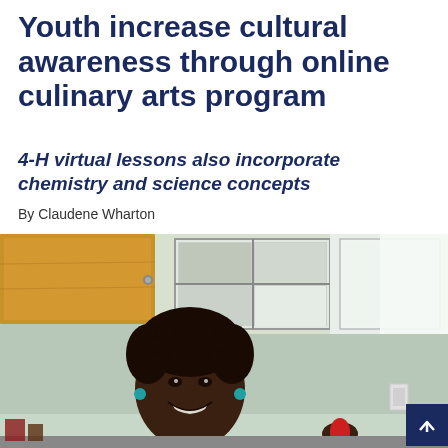Youth increase cultural awareness through online culinary arts program
4-H virtual lessons also incorporate chemistry and science concepts
By Claudene Wharton
[Figure (photo): A woman smiling in a kitchen, with wood cabinets and a window visible behind her. She appears to be participating in a cooking session.]